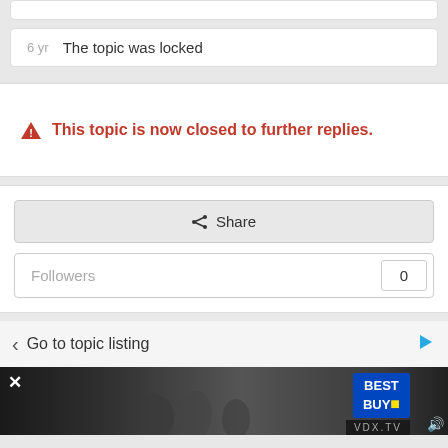6 yr   The topic was locked
⚠ This topic is now closed to further replies.
Share
Followers   0
Go to topic listing
[Figure (screenshot): Advertisement banner for Best Buy via VDX.TV with people in the background and Best Buy logo]
VDX.TV